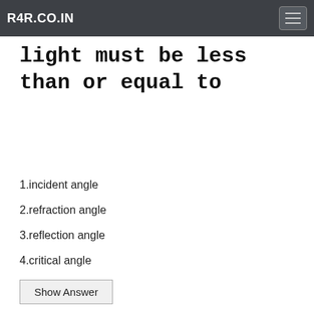R4R.CO.IN
light must be less than or equal to
1.incident angle
2.refraction angle
3.reflection angle
4.critical angle